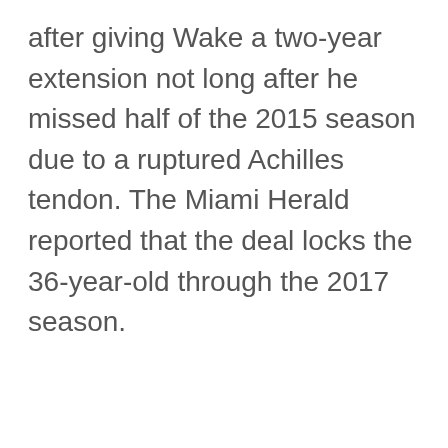after giving Wake a two-year extension not long after he missed half of the 2015 season due to a ruptured Achilles tendon. The Miami Herald reported that the deal locks the 36-year-old through the 2017 season.